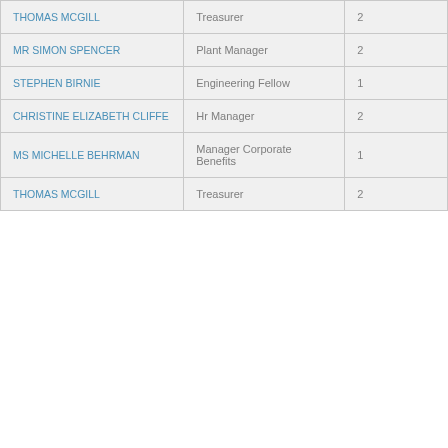| THOMAS MCGILL | Treasurer | 2 |
| MR SIMON SPENCER | Plant Manager | 2 |
| STEPHEN BIRNIE | Engineering Fellow | 1 |
| CHRISTINE ELIZABETH CLIFFE | Hr Manager | 2 |
| MS MICHELLE BEHRMAN | Manager Corporate Benefits | 1 |
| THOMAS MCGILL | Treasurer | 2 |